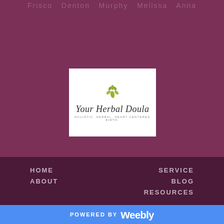Frisco  Denton  Murphy  Melissa  Anna
[Figure (logo): Your Herbal Doula logo on white card. Features an olive-green botanical leaf/flower graphic, cursive script text 'Your Herbal Doula' and tagline 'HOLISTIC. HERBAL. HEART CENTERED BIRTH.']
HOME
ABOUT
SERVICE
BLOG
RESOURCES
POWERED BY weebly